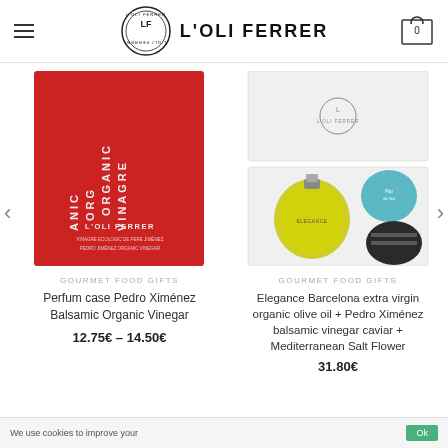[Figure (logo): L'OLI FERRER logo with circular badge and text]
[Figure (photo): Red box packaging for Perfum case Pedro Ximénez Balsamic Organic Vinegar by L'OLI FERRER]
GOURMET FOOD GIFTS
Perfum case Pedro Ximénez Balsamic Organic Vinegar
12.75€ – 14.50€
[Figure (photo): White box gift set with round olive oil bottle and two tins of caviar and salt flower by L'OLI FERRER]
GOURMET FOOD GIFTS
Elegance Barcelona extra virgin organic olive oil + Pedro Ximénez balsamic vinegar caviar + Mediterranean Salt Flower
31.80€
We use cookies to improve your